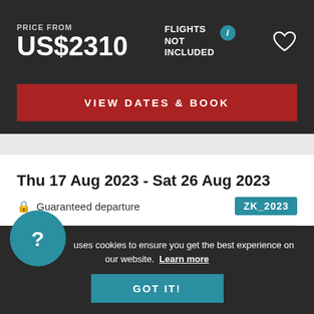PRICE FROM
US$2310
FLIGHTS NOT INCLUDED
VIEW DATES & BOOK
Thu 17 Aug 2023 - Sat 26 Aug 2023
Guaranteed departure
ZK_2023
US$2640
This site uses cookies to ensure you get the best experience on our website. Learn more
GOT IT!